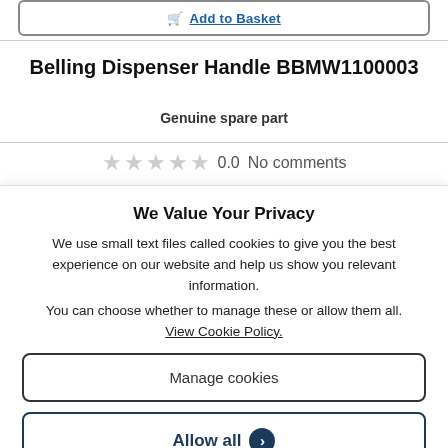Belling Dispenser Handle BBMW1100003
Genuine spare part
0.0  No comments
We Value Your Privacy
We use small text files called cookies to give you the best experience on our website and help us show you relevant information.
You can choose whether to manage these or allow them all.
View Cookie Policy.
Manage cookies
Allow all